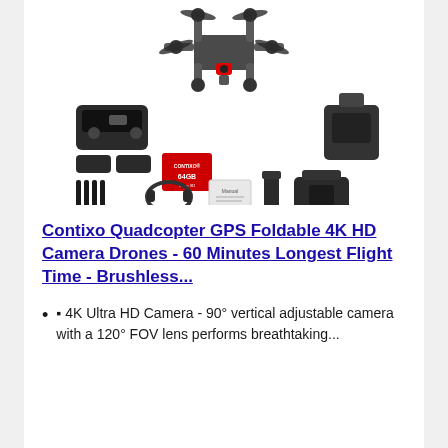[Figure (photo): Product image showing a Contixo drone quadcopter kit with components including the drone itself, remote controller, extra batteries, 64GB SD card, extra propellers, headphones, manual, phone holder, and backpack carrying case]
Contixo Quadcopter GPS Foldable 4K HD Camera Drones - 60 Minutes Longest Flight Time - Brushless...
🔸 4K Ultra HD Camera - 90° vertical adjustable camera with a 120° FOV lens performs breathtaking...